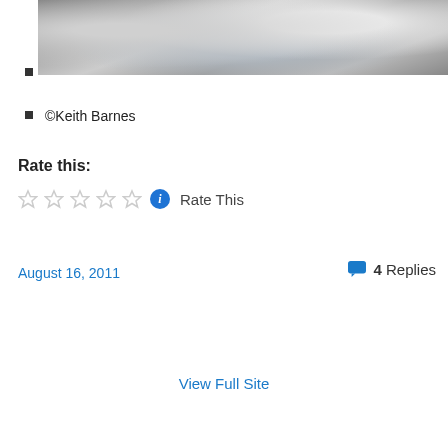[Figure (photo): Close-up photo of shiny silver/metallic curved surfaces with a building reflection visible in the background]
©Keith Barnes
Rate this:
[Figure (other): Five empty star rating widgets followed by an info icon and 'Rate This' text]
August 16, 2011
4 Replies
View Full Site